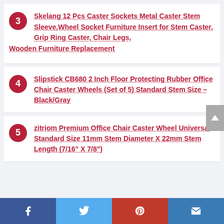3 Skelang 12 Pcs Caster Sockets Metal Caster Stem Sleeve,Wheel Socket Furniture Insert for Stem Caster, Grip Ring Caster, Chair Legs, Wooden Furniture Replacement
4 Slipstick CB680 2 Inch Floor Protecting Rubber Office Chair Caster Wheels (Set of 5) Standard Stem Size – Black/Gray
5 zitriom Premium Office Chair Caster Wheel Universal Standard Size 11mm Stem Diameter X 22mm Stem Length (7/16" X 7/8")
Facebook Twitter Pinterest Email